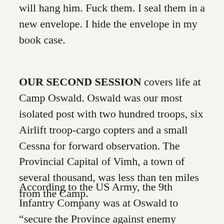will hang him. Fuck them. I seal them in a new envelope. I hide the envelope in my book case.
OUR SECOND SESSION covers life at Camp Oswald. Oswald was our most isolated post with two hundred troops, six Airlift troop-cargo copters and a small Cessna for forward observation. The Provincial Capital of Vimh, a town of several thousand, was less than ten miles from the Camp.
According to the US Army, the 9th Infantry Company was at Oswald to “secure the Province against enemy